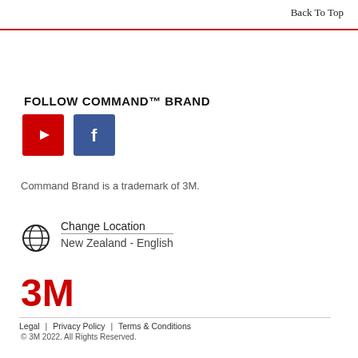Back To Top
FOLLOW COMMAND™ BRAND
[Figure (illustration): YouTube icon (red square with white play button) and Facebook icon (blue square with white 'f')]
Command Brand is a trademark of 3M.
Change Location
New Zealand - English
[Figure (logo): 3M logo in red]
Legal | Privacy Policy | Terms & Conditions
© 3M 2022. All Rights Reserved.